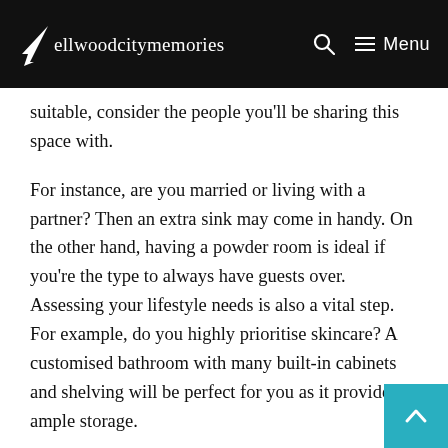ellwoodcitymemories — Menu
suitable, consider the people you'll be sharing this space with.
For instance, are you married or living with a partner? Then an extra sink may come in handy. On the other hand, having a powder room is ideal if you're the type to always have guests over. Assessing your lifestyle needs is also a vital step. For example, do you highly prioritise skincare? A customised bathroom with many built-in cabinets and shelving will be perfect for you as it provides ample storage.
Lastly, depending on the total amount of space available, as well as the number of residents in your home, you can